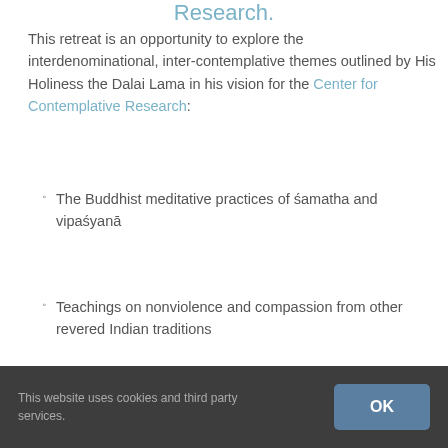Research.
This retreat is an opportunity to explore the interdenominational, inter-contemplative themes outlined by His Holiness the Dalai Lama in his vision for the Center for Contemplative Research:
The Buddhist meditative practices of śamatha and vipaśyanā
Teachings on nonviolence and compassion from other revered Indian traditions
Instruction in the contemplative traditions of Christianity
This website uses cookies and third party services.